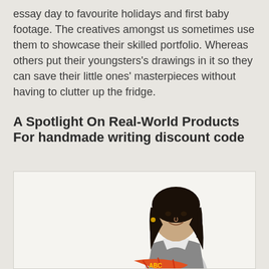essay day to favourite holidays and first baby footage. The creatives amongst us sometimes use them to showcase their skilled portfolio. Whereas others put their youngsters's drawings in it so they can save their little ones' masterpieces without having to clutter up the fridge.
A Spotlight On Real-World Products For handmade writing discount code
[Figure (photo): A young woman with dark hair, looking over her shoulder and smiling, wearing a grey vest over a white shirt. She appears to be holding a colorful red item at the bottom of the frame. White background.]